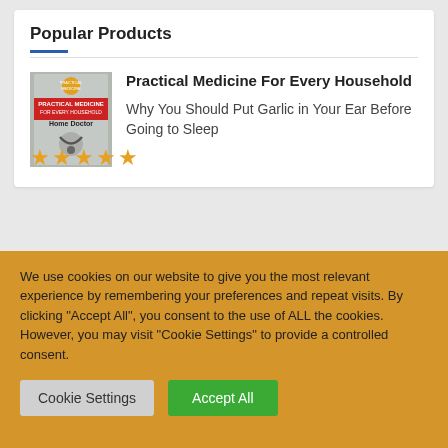Popular Products
[Figure (illustration): Book cover of 'Practical Medicine For Every Household Home Doctor' with stethoscope image]
Practical Medicine For Every Household
Why You Should Put Garlic in Your Ear Before Going to Sleep
★★★★★
We use cookies on our website to give you the most relevant experience by remembering your preferences and repeat visits. By clicking "Accept All", you consent to the use of ALL the cookies. However, you may visit "Cookie Settings" to provide a controlled consent.
Cookie Settings | Accept All